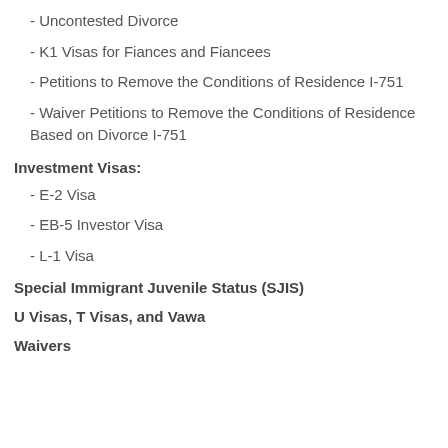- Uncontested Divorce
- K1 Visas for Fiances and Fiancees
- Petitions to Remove the Conditions of Residence I-751
- Waiver Petitions to Remove the Conditions of Residence Based on Divorce I-751
Investment Visas:
- E-2 Visa
- EB-5 Investor Visa
- L-1 Visa
Special Immigrant Juvenile Status (SJIS)
U Visas, T Visas, and Vawa
Waivers